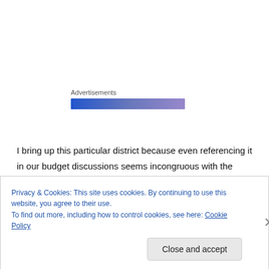[Figure (other): Advertisements label with a blue-to-purple gradient horizontal bar beneath it]
I bring up this particular district because even referencing it in our budget discussions seems incongruous with the issues at hane.  It is such an example of greener grass — as some posters elsewhere have included Inquirer information about how they go about their budget. Last year, their millage actually “dropped.”  Actually, their millage for now is 27.09 mills, down from 27.29 the previous year.  That’s on property
Privacy & Cookies: This site uses cookies. By continuing to use this website, you agree to their use.
To find out more, including how to control cookies, see here: Cookie Policy